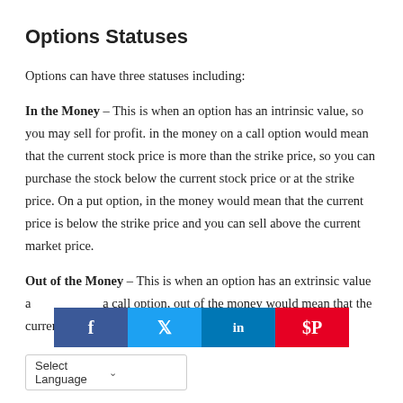Options Statuses
Options can have three statuses including:
In the Money – This is when an option has an intrinsic value, so you may sell for profit. in the money on a call option would mean that the current stock price is more than the strike price, so you can purchase the stock below the current stock price or at the strike price. On a put option, in the money would mean that the current price is below the strike price and you can sell above the current market price.
Out of the Money – This is when an option has an extrinsic value a... a call option, out of the money would mean that the current price is